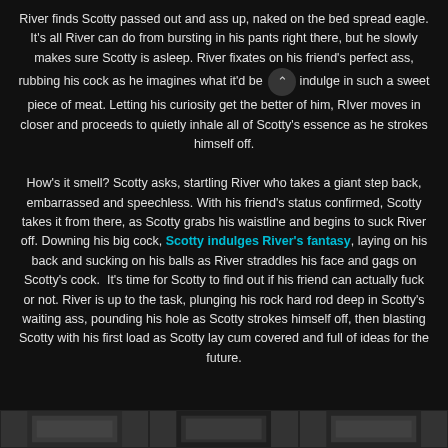River finds Scotty passed out and ass up, naked on the bed spread eagle. It's all River can do from bursting in his pants right there, but he slowly makes sure Scotty is asleep. River fixates on his friend's perfect ass, rubbing his cock as he imagines what it'd be like to indulge in such a sweet piece of meat. Letting his curiosity get the better of him, RIver moves in closer and proceeds to quietly inhale all of Scotty's essence as he strokes himself off.
How's it smell? Scotty asks, startling River who takes a giant step back, embarrassed and speechless. With his friend's status confirmed, Scotty takes it from there, as Scotty grabs his waistline and begins to suck River off. Downing his big cock, Scotty indulges River's fantasy, laying on his back and sucking on his balls as River straddles his face and gags on Scotty's cock.  It's time for Scotty to find out if his friend can actually fuck or not. River is up to the task, plunging his rock hard rod deep in Scotty's waiting ass, pounding his hole as Scotty strokes himself off, then blasting Scotty with his first load as Scotty lay cum covered and full of ideas for the future.
[Figure (photo): Row of thumbnail images at the bottom of the page]